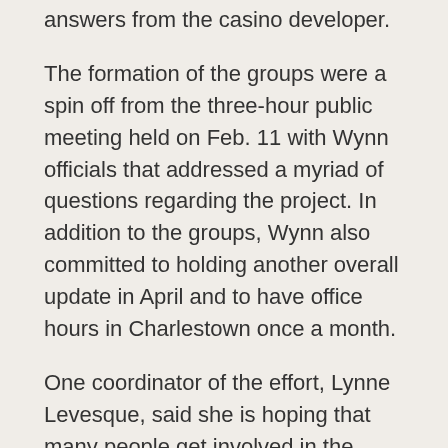answers from the casino developer.
The formation of the groups were a spin off from the three-hour public meeting held on Feb. 11 with Wynn officials that addressed a myriad of questions regarding the project. In addition to the groups, Wynn also committed to holding another overall update in April and to have office hours in Charlestown once a month.
One coordinator of the effort, Lynne Levesque, said she is hoping that many people get involved in the working groups so that all questions can be put on the table and answered.
“The importance of these meetings is in getting questions and answers on the table,” she said. “We hope to get as many answers as we can. We’re there to question, listen and list. We want to make sure we